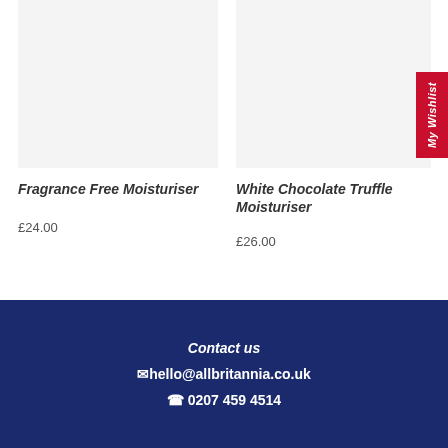[Figure (photo): Product image placeholder for Fragrance Free Moisturiser (light grey background)]
[Figure (photo): Product image placeholder for White Chocolate Truffle Moisturiser (light grey background)]
Fragrance Free Moisturiser
£24.00
White Chocolate Truffle Moisturiser
£26.00
My Wishlist
Contact us
hello@allbritannia.co.uk
0207 459 4514